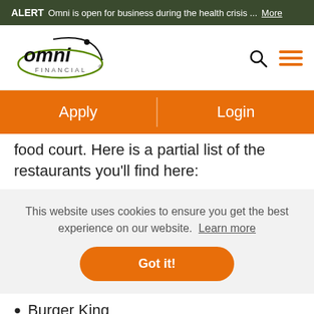ALERT Omni is open for business during the health crisis ... More
[Figure (logo): Omni Financial logo with green swoosh]
Apply   Login
food court. Here is a partial list of the restaurants you'll find here:
This website uses cookies to ensure you get the best experience on our website. Learn more
Got it!
Burger King